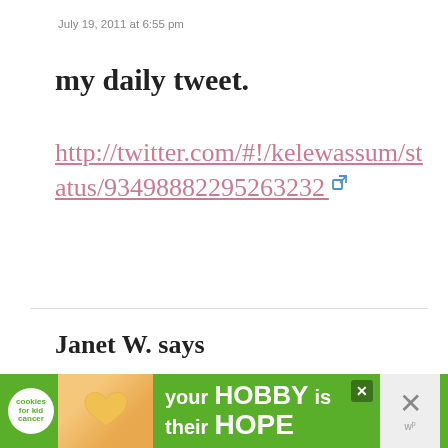July 19, 2011 at 6:55 pm
my daily tweet.
http://twitter.com/#!/kelewassum/status/93498882295263232
Janet W. says
July 19, 2011 at 6:57 am
[Figure (other): Advertisement banner: cookies for kid cancer - your HOBBY is their HOPE]